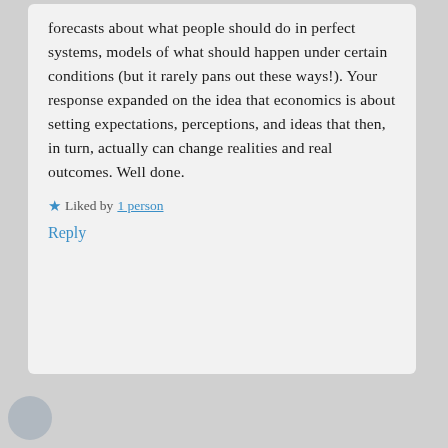forecasts about what people should do in perfect systems, models of what should happen under certain conditions (but it rarely pans out these ways!). Your response expanded on the idea that economics is about setting expectations, perceptions, and ideas that then, in turn, actually can change realities and real outcomes. Well done.
Liked by 1 person
Reply